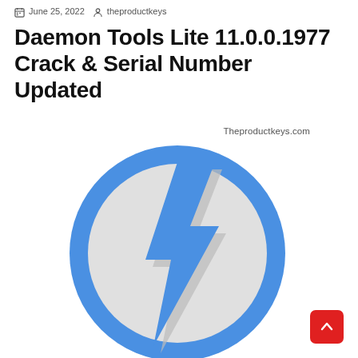June 25, 2022  theproductkeys
Daemon Tools Lite 11.0.0.1977 Crack & Serial Number Updated
[Figure (logo): DAEMON Tools logo: a blue circle border with a light gray filled circle interior containing a blue lightning bolt shape with a gray shadow. Watermark text 'Theproductkeys.com' in the upper right area of the logo.]